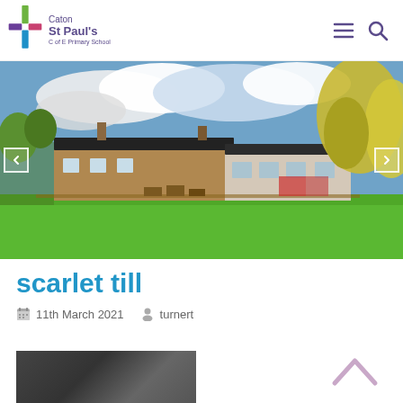[Figure (logo): Caton St Paul's C of E Primary School logo with coloured cross (green, purple, red, blue) and school name text]
[Figure (photo): Outdoor school grounds photo showing a low brick building, green lawn, trees with autumn foliage, and a blue cloudy sky. Navigation arrows on left and right edges.]
scarlet till
11th March 2021   turnert
[Figure (photo): Partial dark grey/black thumbnail image, appears to be indoor dark scene]